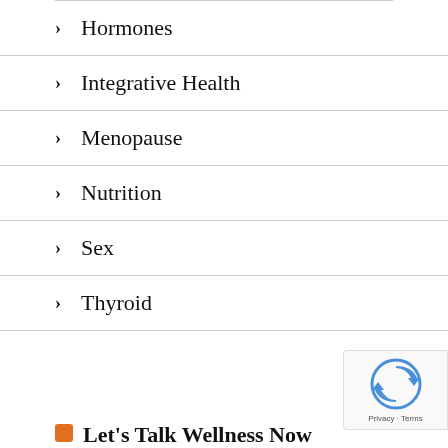Hormones
Integrative Health
Menopause
Nutrition
Sex
Thyroid
Let's Talk Wellness Now